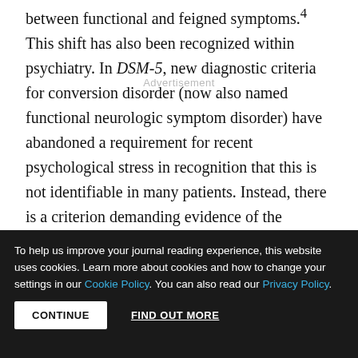between functional and feigned symptoms.4 This shift has also been recognized within psychiatry. In DSM-5, new diagnostic criteria for conversion disorder (now also named functional neurologic symptom disorder) have abandoned a requirement for recent psychological stress in recognition that this is not identifiable in many patients. Instead, there is a criterion demanding evidence of the positive clinical examination features that neurologists use to make these (and other) diagnoses (www.dsm5.org).
To help us improve your journal reading experience, this website uses cookies. Learn more about cookies and how to change your settings in our Cookie Policy. You can also read our Privacy Policy.
CONTINUE   FIND OUT MORE